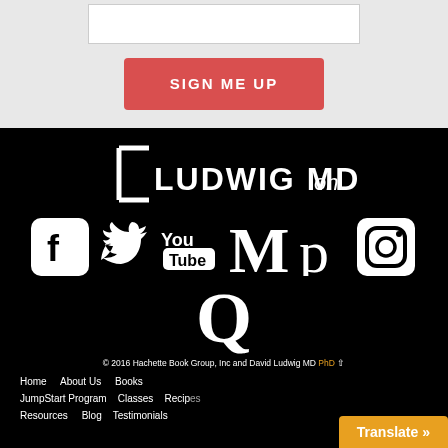[Figure (screenshot): White input box at top of sign-up form]
SIGN ME UP
[Figure (logo): Ludwig MD on social media logo with bracket and text]
[Figure (infographic): Social media icons: Facebook, Twitter, YouTube, Medium (M), Pinterest (p), Instagram, and Quora (Q) on black background]
© 2016 Hachette Book Group, Inc and David Ludwig MD PhD
Home   About Us   Books   JumpStart Program   Classes   Recipes   Resources   Blog   Testimonials